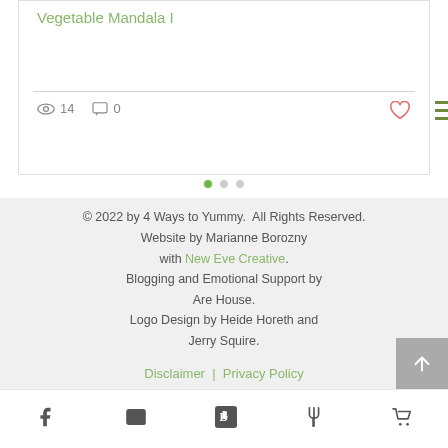Vegetable Mandala I
14 views  0 comments
[Figure (other): Pagination dots: one green active dot and two grey dots]
© 2022 by 4 Ways to Yummy.  All Rights Reserved. Website by Marianne Borozny with New Eve Creative. Blogging and Emotional Support by Are House. Logo Design by Heide Horeth and Jerry Squire.
Disclaimer | Privacy Policy
[Figure (other): Bottom navigation bar with icons: Facebook, Email, Bloglovin, Fork/Restaurant, Shopping Cart]